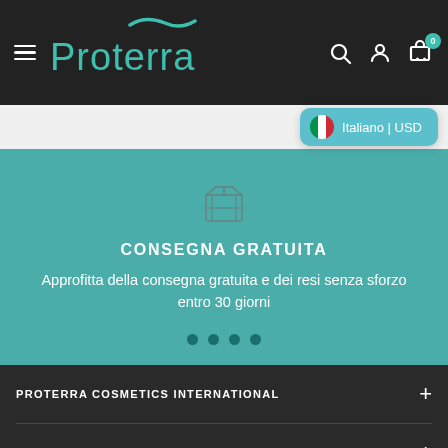[Figure (screenshot): Proterra website header with hamburger menu, teal Proterra logo, and icons for search, user account, and cart with badge showing 0]
[Figure (screenshot): Language selector pill showing Italian flag with text 'Italiano | USD' on a light grey bar]
[Figure (illustration): Teal banner section with package/box icon, heading CONSEGNA GRATUITA, descriptive text, and pagination dots]
CONSEGNA GRATUITA
Approfitta della consegna gratuita e dei resi senza sforzo entro 30 giorni
PROTERRA COSMETICS INTERNATIONAL
GENERAL MENU